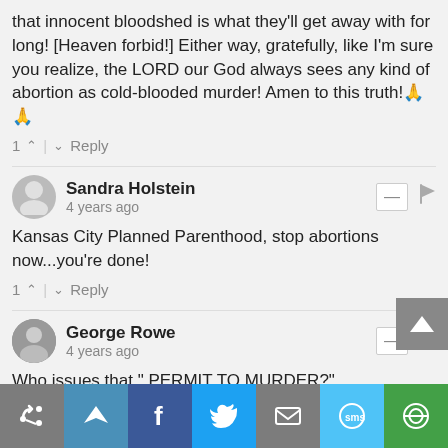that innocent bloodshed is what they'll get away with for long! [Heaven forbid!] Either way, gratefully, like I'm sure you realize, the LORD our God always sees any kind of abortion as cold-blooded murder! Amen to this truth!🙏🙏
1 ▲ | ▼ Reply
Sandra Holstein
4 years ago
Kansas City Planned Parenthood, stop abortions now...you're done!
1 ▲ | ▼ Reply
George Rowe
4 years ago
Who issues that " PERMIT TO MURDER?"
George
1 ▲ | ▼ Reply
JOE
4 years ago